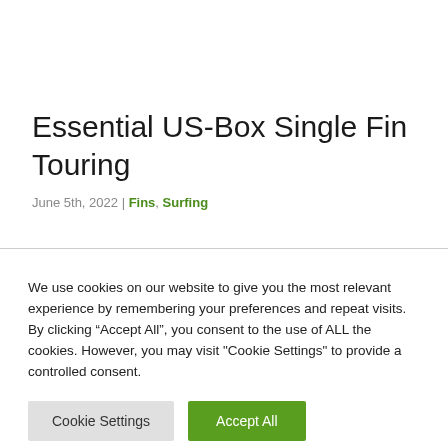Essential US-Box Single Fin Touring
June 5th, 2022 | Fins, Surfing
We use cookies on our website to give you the most relevant experience by remembering your preferences and repeat visits. By clicking “Accept All”, you consent to the use of ALL the cookies. However, you may visit "Cookie Settings" to provide a controlled consent.